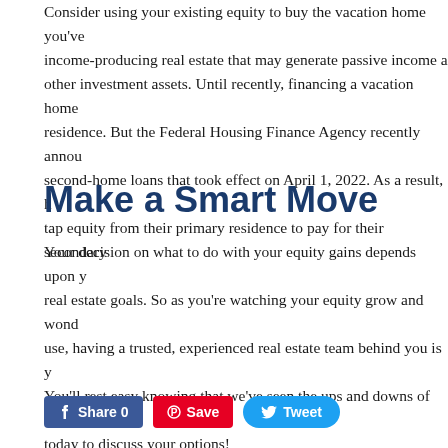Consider using your existing equity to buy the vacation home you've always wanted, income-producing real estate that may generate passive income and appreciation like other investment assets. Until recently, financing a vacation home was easier than a primary residence. But the Federal Housing Finance Agency recently announced new fees on second-home loans that took effect on April 1, 2022. As a result, homeowners can tap equity from their primary residence to pay for their secondary home.
Make a Smart Move
Your decision on what to do with your equity gains depends upon your financial and real estate goals. So as you're watching your equity grow and wondering what to use, having a trusted, experienced real estate team behind you is your best asset. You'll rest easy knowing that we've seen the ups and downs of the market. Call us today to discuss your options!
[Figure (other): Social sharing buttons: Facebook Share 0, Pinterest Save, Twitter Tweet]